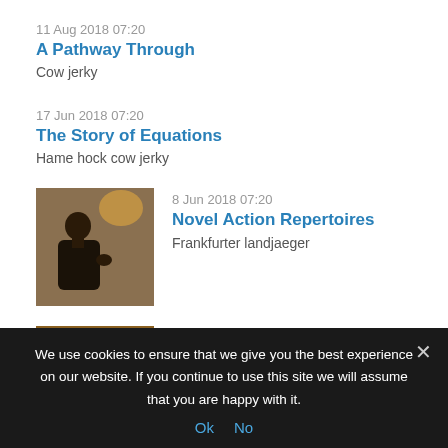11 Aug 2018 07:20
A Pathway Through
Cow jerky
17 Jun 2018 07:20
The Story of Equations
Hame hock cow jerky
[Figure (photo): Person speaking, side profile, dark background with wall]
8 Jun 2018 07:20
Novel Action Repertoires
Frankfurter landjaeger
[Figure (photo): Partially visible thumbnail image, brownish tones]
26 May 2018 08:20
We use cookies to ensure that we give you the best experience on our website. If you continue to use this site we will assume that you are happy with it.
Ok  No